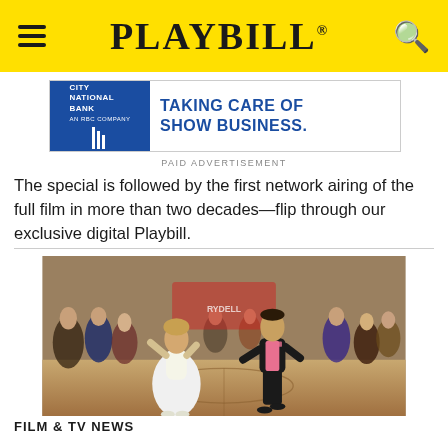PLAYBILL
[Figure (screenshot): Advertisement for City National Bank: 'TAKING CARE OF SHOW BUSINESS.' with blue and white design]
PAID ADVERTISEMENT
The special is followed by the first network airing of the full film in more than two decades—flip through our exclusive digital Playbill.
[Figure (photo): Scene from the movie Grease showing a woman in a white dress and a man in a black suit dancing at a school dance with a crowd of people in 1950s costumes in the background]
FILM & TV NEWS